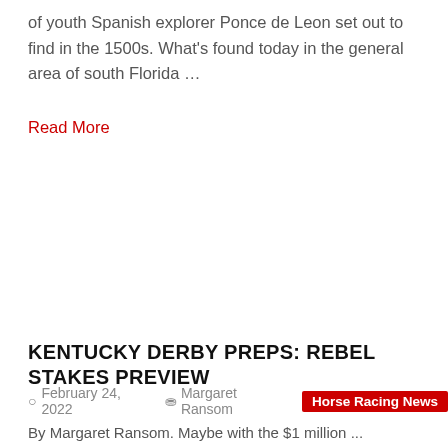of youth Spanish explorer Ponce de Leon set out to find in the 1500s. What's found today in the general area of south Florida …
Read More
KENTUCKY DERBY PREPS: REBEL STAKES PREVIEW
February 24, 2022   Margaret Ransom   Horse Racing News
By Margaret Ransom. Maybe with the $1 million ...